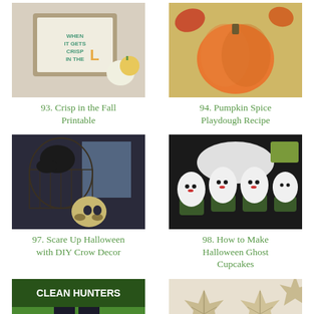[Figure (photo): Fall printable sign with pumpkins and leaves]
93. Crisp in the Fall Printable
[Figure (photo): Pumpkin spice playdough with orange pumpkin]
94. Pumpkin Spice Playdough Recipe
[Figure (photo): Halloween crow decor with bird cage and skull]
97. Scare Up Halloween with DIY Crow Decor
[Figure (photo): Halloween ghost cupcakes with white frosting]
98. How to Make Halloween Ghost Cupcakes
[Figure (photo): Clean hunters boots with person in red rain boots on grass]
[Figure (photo): Fall maple leaf shaped cookies]